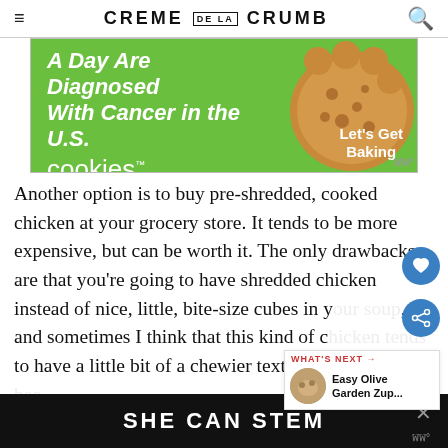CREME DE LA CRUMB
[Figure (infographic): Advertisement for Cookies for Kids Cancer: green background with text 'A Day Are Diagnosed With Cancer in the U.S.' and 'cookies for kids cancer' with 'Let's Get Baking' button and a cookie image.]
Another option is to buy pre-shredded, cooked chicken at your grocery store. It tends to be more expensive, but can be worth it. The only drawbacks are that you're going to have shredded chicken instead of nice, little, bite-size cubes in your soup, and sometimes I think that this kind of c... to have a little bit of a chewier texture than when it's bee...
[Figure (infographic): Bottom advertisement with black background text 'SHE CAN STEM']